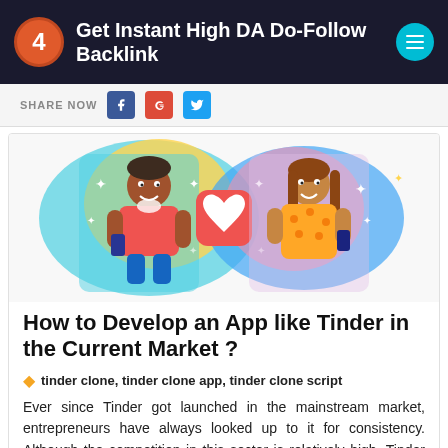Get Instant High DA Do-Follow Backlink
SHARE NOW
[Figure (illustration): Colorful illustration of two people holding smartphones with a heart icon in the middle, representing a dating app concept]
How to Develop an App like Tinder in the Current Market ?
tinder clone, tinder clone app, tinder clone script
Ever since Tinder got launched in the mainstream market, entrepreneurs have always looked up to it for consistency. Although the competition in this sector is relatively high, Tinder still remains in the top tier. Get in touch with our mobile app developm